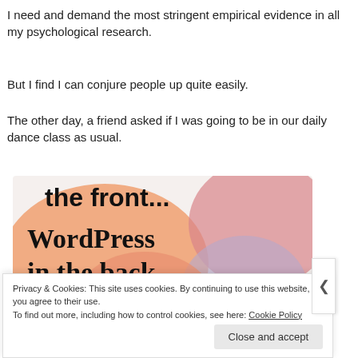I need and demand the most stringent empirical evidence in all my psychological research.
But I find I can conjure people up quite easily.
The other day, a friend asked if I was going to be in our daily dance class as usual.
[Figure (screenshot): Advertisement screenshot showing 'the front...' text at top and 'WordPress in the back.' in bold serif font on an orange/pink/purple gradient blob background, with a red bar at the bottom.]
Privacy & Cookies: This site uses cookies. By continuing to use this website, you agree to their use.
To find out more, including how to control cookies, see here: Cookie Policy
Close and accept